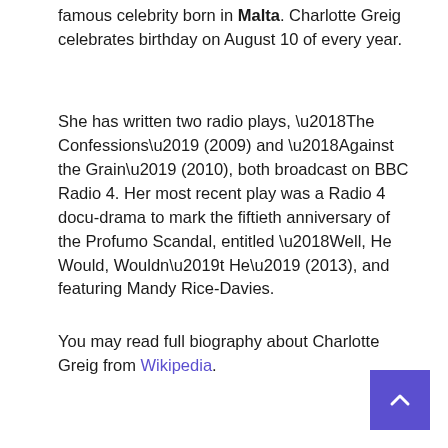famous celebrity born in Malta. Charlotte Greig celebrates birthday on August 10 of every year.
She has written two radio plays, ‘The Confessions’ (2009) and ‘Against the Grain’ (2010), both broadcast on BBC Radio 4. Her most recent play was a Radio 4 docu-drama to mark the fiftieth anniversary of the Profumo Scandal, entitled ‘Well, He Would, Wouldn’t He’ (2013), and featuring Mandy Rice-Davies.
You may read full biography about Charlotte Greig from Wikipedia.